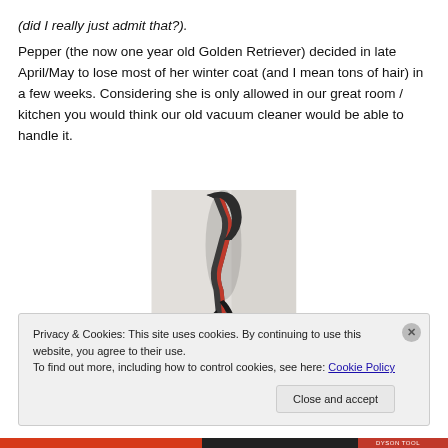(did I really just admit that?).
Pepper (the now one year old Golden Retriever) decided in late April/May to lose most of her winter coat (and I mean tons of hair) in a few weeks. Considering she is only allowed in our great room / kitchen you would think our old vacuum cleaner would be able to handle it.
[Figure (photo): Photo of a vacuum cleaner handle/hose, dark gray and red, leaning against a white wall]
Privacy & Cookies: This site uses cookies. By continuing to use this website, you agree to their use.
To find out more, including how to control cookies, see here: Cookie Policy
Close and accept